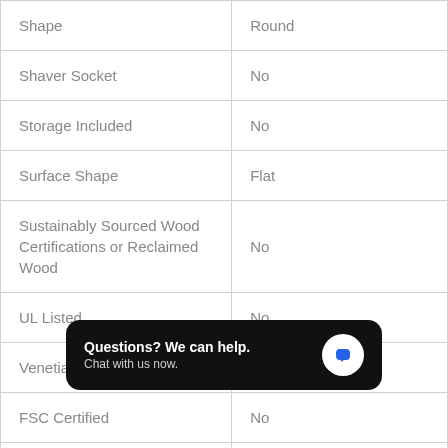| Shape | Round |
| Shaver Socket | No |
| Storage Included | No |
| Surface Shape | Flat |
| Sustainably Sourced Wood Certifications or Reclaimed Wood | No |
| UL Listed | No |
| Venetian | No |
| FSC Certified | No |
| Reclaimed Wood |  |